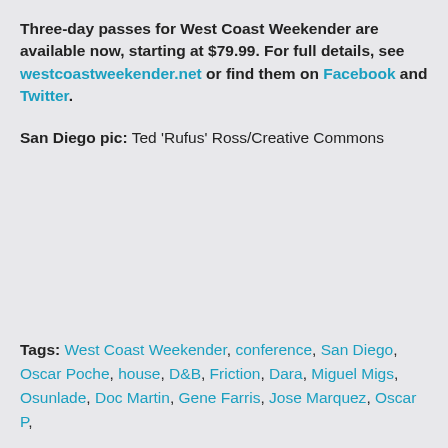Three-day passes for West Coast Weekender are available now, starting at $79.99. For full details, see westcoastweekender.net or find them on Facebook and Twitter.
San Diego pic: Ted 'Rufus' Ross/Creative Commons
Tags: West Coast Weekender, conference, San Diego, Oscar Poche, house, D&B, Friction, Dara, Miguel Migs, Osunlade, Doc Martin, Gene Farris, Jose Marquez, Oscar P,